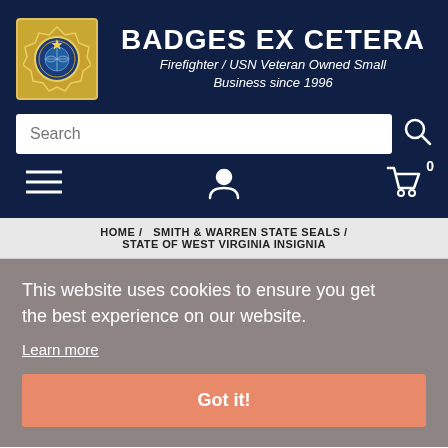BADGES EX CETERA
Firefighter / USN Veteran Owned Small Business since 1996
Search
HOME / SMITH & WARREN STATE SEALS / STATE OF WEST VIRGINIA INSIGNIA
This website uses cookies to ensure you get the best experience on our website.
Learn more
Got it!
Additional versions of this seal are shown below in the related products.